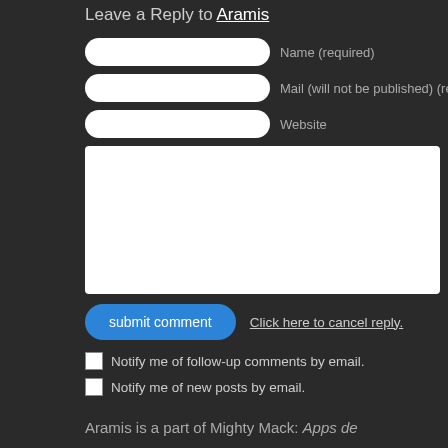Leave a Reply to [link]
Name (required)
Mail (will not be published) (required)
Website
submit comment
Click here to cancel reply.
Notify me of follow-up comments by email.
Notify me of new posts by email.
Aramis is a part of Mighty Mack: Apps de